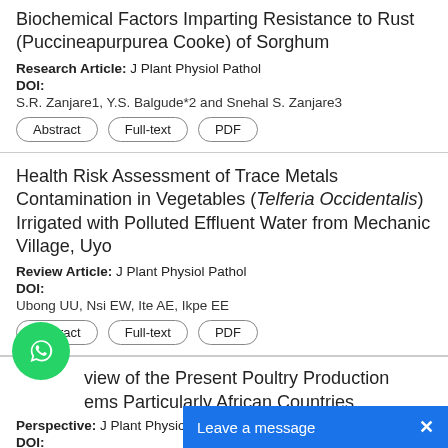Biochemical Factors Imparting Resistance to Rust (Puccineapurpurea Cooke) of Sorghum
Research Article: J Plant Physiol Pathol
DOI:
S.R. Zanjare1, Y.S. Balgude*2 and Snehal S. Zanjare3
Health Risk Assessment of Trace Metals Contamination in Vegetables (Telferia Occidentalis) Irrigated with Polluted Effluent Water from Mechanic Village, Uyo
Review Article: J Plant Physiol Pathol
DOI:
Ubong UU, Nsi EW, Ite AE, Ikpe EE
...view of the Present Poultry Production ...ems Particularly African Countries
Perspective: J Plant Physiol Patho...
DOI: